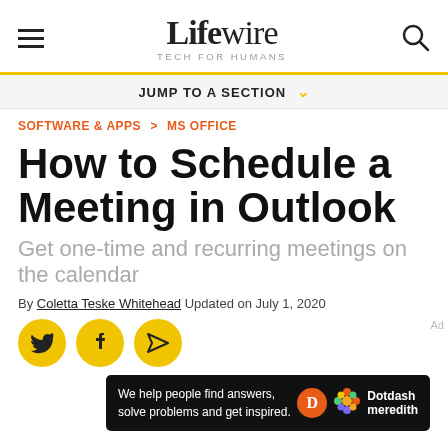Lifewire TECH FOR HUMANS
JUMP TO A SECTION
SOFTWARE & APPS > MS OFFICE
How to Schedule a Meeting in Outlook
Get one-time and recurring meetings on the calendar
By Coletta Teske Whitehead Updated on July 1, 2020
[Figure (infographic): Social share buttons: Twitter, Facebook, and share icons as yellow circles]
[Figure (infographic): Ad banner: We help people find answers, solve problems and get inspired. Dotdash meredith logo.]